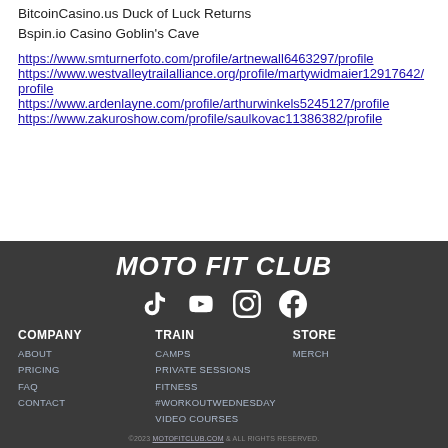BitcoinCasino.us Duck of Luck Returns
Bspin.io Casino Goblin's Cave
https://www.smturnerfoto.com/profile/artnewall6463297/profile https://www.westvalleytrailalliance.org/profile/martywidmaier12917642/profile https://www.ardenlayne.com/profile/arthurwinkels5245127/profile https://www.zakuroshow.com/profile/saulkovac11386382/profile
[Figure (logo): Moto Fit Club footer with logo, social media icons (TikTok, YouTube, Instagram, Facebook), and navigation columns: COMPANY (ABOUT, PRICING, FAQ, CONTACT), TRAIN (CAMPS, PRIVATE SESSIONS, FITNESS, #WORKOUTWEDNESDAY, VIDEO COURSES), STORE (MERCH), and copyright line.]